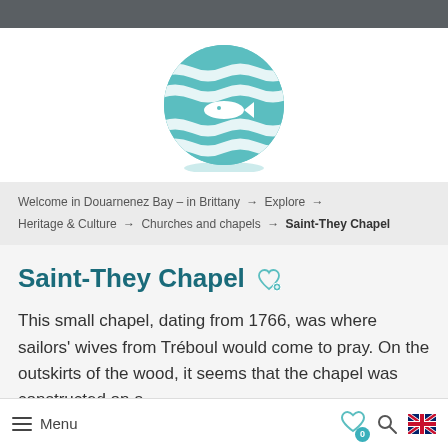[Figure (logo): Circular teal logo with wavy lines and a fish silhouette, representing Douarnenez Bay tourism website]
Welcome in Douarnenez Bay – in Brittany → Explore → Heritage & Culture → Churches and chapels → Saint-They Chapel
Saint-They Chapel
This small chapel, dating from 1766, was where sailors' wives from Tréboul would come to pray. On the outskirts of the wood, it seems that the chapel was constructed on a
Menu  ♡ 0  🔍  🇬🇧